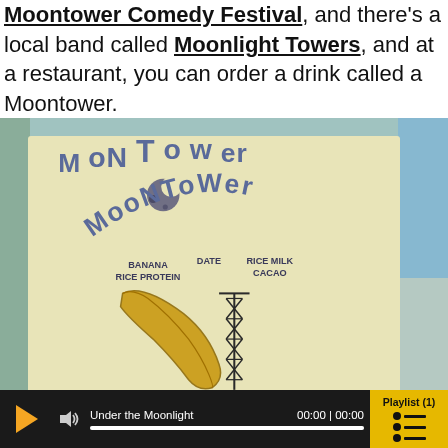Moontower Comedy Festival, and there's a local band called Moonlight Towers, and at a restaurant, you can order a drink called a Moontower.
[Figure (photo): Photo of a restaurant menu card with hand-drawn text reading 'MOONTOWER' in stylized lettering with a moon icon, listing ingredients: BANANA, DATE, RICE MILK, RICE PROTEIN, CACAO. Below the text is a hand-drawn illustration of a banana and a lattice tower. The card is propped up against a teal/blue-green wall background.]
Under the Moonlight  00:00 | 00:00  Playlist (1)